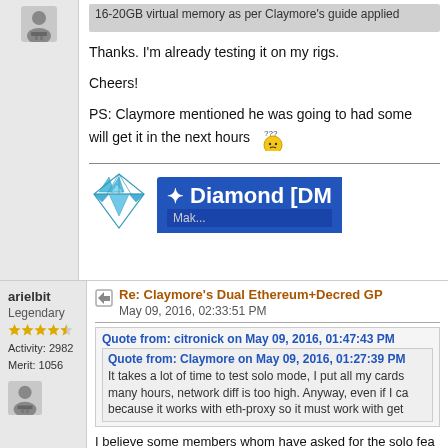16-20GB virtual memory as per Claymore's guide applied
Thanks. I'm already testing it on my rigs.

Cheers!

PS: Claymore mentioned he was going to had some will get it in the next hours
[Figure (illustration): Diamond logo icon and blue banner with text: ✦ Diamond [DM]
arielbit
Legendary
Activity: 2982
Merit: 1056
Re: Claymore's Dual Ethereum+Decred GP
May 09, 2016, 02:33:51 PM
Quote from: citronick on May 09, 2016, 01:47:43 PM
Quote from: Claymore on May 09, 2016, 01:27:39 PM
It takes a lot of time to test solo mode, I put all my cards many hours, network diff is too high. Anyway, even if I ca because it works with eth-proxy so it must work with get
I believe some members whom have asked for the solo fea to test it out and perhaps this way we can give you faster f